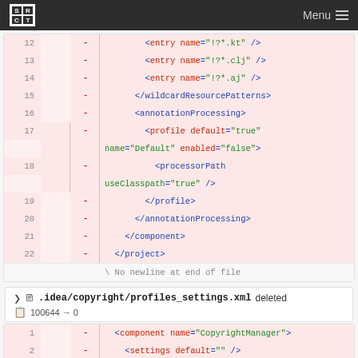SRCT Menu
[Figure (screenshot): Code diff view showing XML file lines 12-22 with deleted lines (pink background). Lines show wildcardResourcePatterns entries, annotationProcessing, profile, processorPath, and closing tags. Line 22 ends with </project> and there is a 'No newline at end of file' notice.]
.idea/copyright/profiles_settings.xml deleted
100644 → 0
[Figure (screenshot): Code diff view showing XML file lines 1-3 with deleted lines (pink background). Lines show component name='CopyrightManager', settings default='', and </component>.]